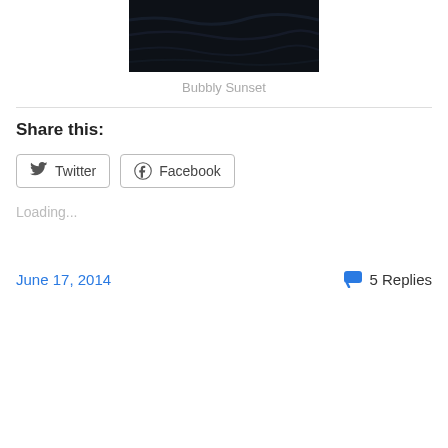[Figure (photo): Dark blue/black textile or abstract photo, partially visible at top of page]
Bubbly Sunset
Share this:
Twitter  Facebook
Loading...
June 17, 2014
5 Replies